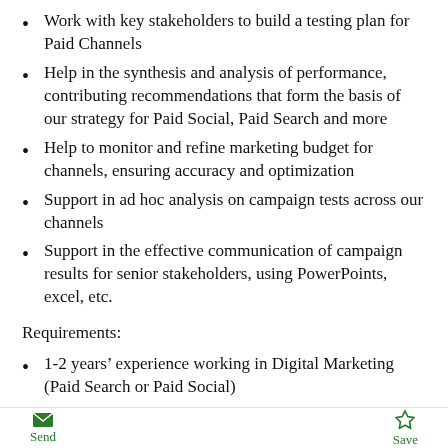Work with key stakeholders to build a testing plan for Paid Channels
Help in the synthesis and analysis of performance, contributing recommendations that form the basis of our strategy for Paid Social, Paid Search and more
Help to monitor and refine marketing budget for channels, ensuring accuracy and optimization
Support in ad hoc analysis on campaign tests across our channels
Support in the effective communication of campaign results for senior stakeholders, using PowerPoints, excel, etc.
Requirements:
1-2 years’ experience working in Digital Marketing (Paid Search or Paid Social)
Previous experience in campaign management and execution preferred
Send | Save